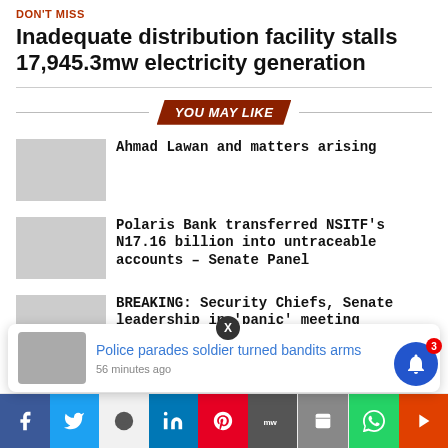DON'T MISS
Inadequate distribution facility stalls 17,945.3mw electricity generation
YOU MAY LIKE
Ahmad Lawan and matters arising
Polaris Bank transferred NSITF's N17.16 billion into untraceable accounts – Senate Panel
BREAKING: Security Chiefs, Senate leadership in 'panic' meeting
Police parades soldier turned bandits arms
56 minutes ago